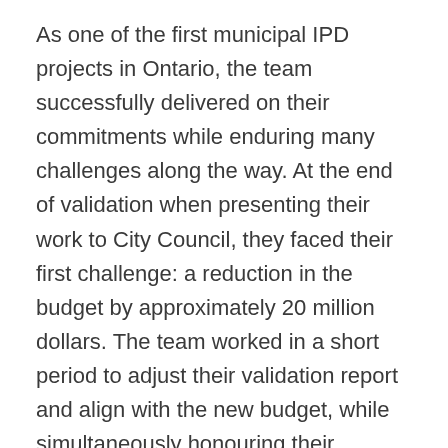As one of the first municipal IPD projects in Ontario, the team successfully delivered on their commitments while enduring many challenges along the way. At the end of validation when presenting their work to City Council, they faced their first challenge: a reduction in the budget by approximately 20 million dollars. The team worked in a short period to adjust their validation report and align with the new budget, while simultaneously honouring their commitment to the City to start detailed design activities and be ready to commence with early site work in the fall of 2018.
The project team then encountered a unique challenge in January 2018 when the Lake Simcoe